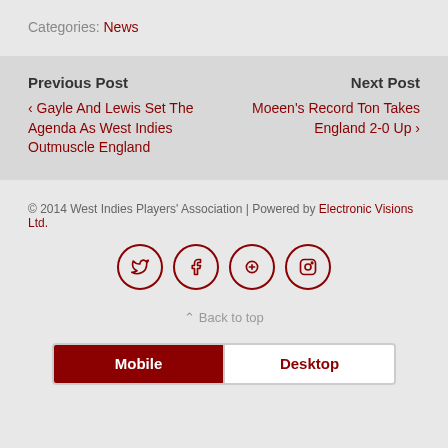Categories: News
Previous Post
‹ Gayle And Lewis Set The Agenda As West Indies Outmuscle England
Next Post
Moeen's Record Ton Takes England 2-0 Up ›
© 2014 West Indies Players' Association | Powered by Electronic Visions Ltd.
[Figure (other): Social media icons: Twitter, Facebook, Google+, Instagram]
⌃ Back to top
Mobile   Desktop